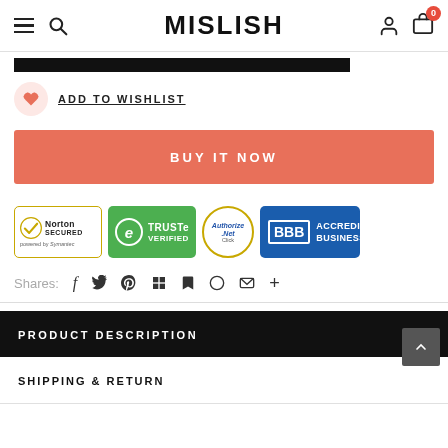MISLISH
[Figure (screenshot): Black bar representing product image]
ADD TO WISHLIST
BUY IT NOW
[Figure (infographic): Trust badges row: Norton Secured powered by Symantec, TRUSTe Verified, Authorize.Net, BBB Accredited Business]
Shares:
PRODUCT DESCRIPTION
SHIPPING & RETURN